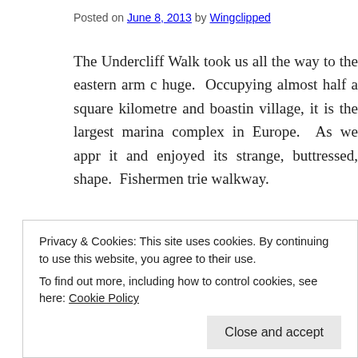Posted on June 8, 2013 by Wingclipped
The Undercliff Walk took us all the way to the eastern arm c huge. Occupying almost half a square kilometre and boastin village, it is the largest marina complex in Europe. As we appr it and enjoyed its strange, buttressed, shape. Fishermen trie walkway.
[Figure (photo): Outdoor photo showing a pale blue-grey sky and what appears to be a marina structure visible at the bottom right of the image.]
Privacy & Cookies: This site uses cookies. By continuing to use this website, you agree to their use.
To find out more, including how to control cookies, see here: Cookie Policy
Close and accept